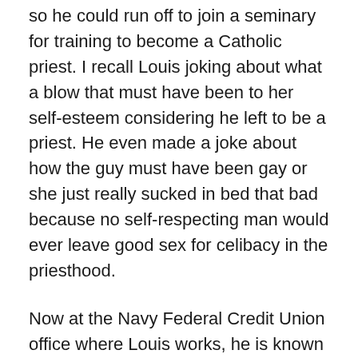so he could run off to join a seminary for training to become a Catholic priest. I recall Louis joking about what a blow that must have been to her self-esteem considering he left to be a priest. He even made a joke about how the guy must have been gay or she just really sucked in bed that bad because no self-respecting man would ever leave good sex for celibacy in the priesthood.
Now at the Navy Federal Credit Union office where Louis works, he is known as a bit of a jokester who plays practical jokes on the others in the office. Their supervisor has previously mentioned how Sarah really needs to be included in the office group of games and fun to team build and make her feel like part of the team because evidently she is so shy and reserved.
So Louis goes on to tell all the family and friends about how this girl Sarah Broaddus that he works with called in